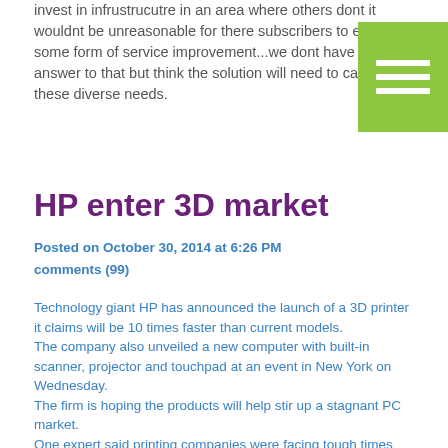invest in infrustrucutre in an area where others dont it wouldnt be unreasonable for there subscribers to enjoy some form of service improvement...we dont have the answer to that but think the solution will need to cater for these diverse needs.
[Figure (illustration): Green square menu/hamburger icon with three white horizontal lines]
HP enter 3D market
Posted on October 30, 2014 at 6:26 PM
comments (99)
Technology giant HP has announced the launch of a 3D printer it claims will be 10 times faster than current models.
The company also unveiled a new computer with built-in scanner, projector and touchpad at an event in New York on Wednesday.
The firm is hoping the products will help stir up a stagnant PC market.
One expert said printing companies were facing tough times and that HP needed its 3D printing to "work and to work well".
The firm said that 3D printing remained a niche technology because it was a slow process and, besides very expensive models, the printers turned out low quality products.
But it claimed that its own printer would be faster - and consequently cheaper - for manufacturers. HP also said that, for its price, it would turn out a better-quality product than its competitors.
HP's senior vice-president, inkjet and web solutions, Steve Nigro, said the printer would be on sale for a "lower cost than any others in its class". But he did not specify an expected retail price.